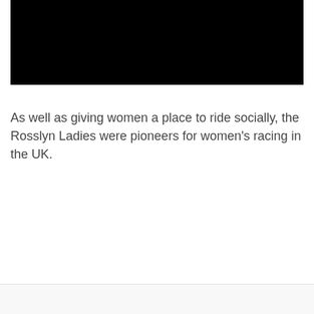[Figure (photo): A black rectangular image or video thumbnail taking up the top portion of the page]
As well as giving women a place to ride socially, the Rosslyn Ladies were pioneers for women's racing in the UK.